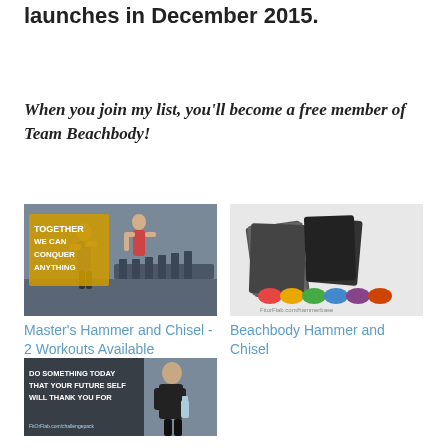launches in December 2015.
When you join my list, you'll become a free member of Team Beachbody!
[Figure (photo): Fitness photo with text 'TOGETHER WE CAN CONQUER ANYTHING' showing people working out in a gym]
Master's Hammer and Chisel - 2 Workouts Available
[Figure (photo): Beachbody product photo showing DVDs and colored containers with FitOrFlab.com/hammerbase watermark]
Beachbody Hammer and Chisel
[Figure (photo): Motivational fitness photo of woman with text 'DO SOMETHING TODAY THAT YOUR FUTURE SELF WILL THANK YOU FOR' with FitOrFlab.com/challengepack watermark]
Beachbody Challenge Pack Sale December 2015